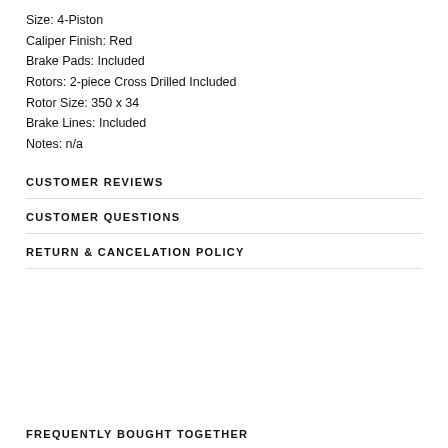Size: 4-Piston
Caliper Finish: Red
Brake Pads: Included
Rotors: 2-piece Cross Drilled Included
Rotor Size: 350 x 34
Brake Lines: Included
Notes: n/a
CUSTOMER REVIEWS
CUSTOMER QUESTIONS
RETURN & CANCELATION POLICY
FREQUENTLY BOUGHT TOGETHER